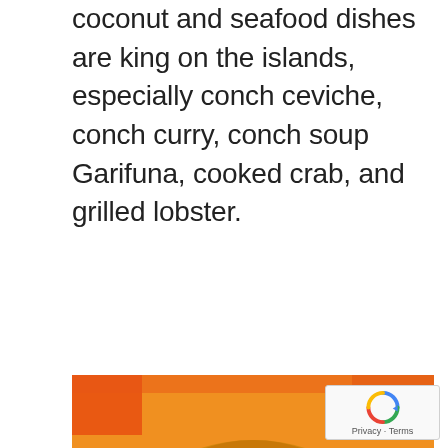coconut and seafood dishes are king on the islands, especially conch ceviche, conch curry, conch soup Garifuna, cooked crab, and grilled lobster.
[Figure (photo): A seafood soup dish in a bowl, with shrimp and crab claws visible in a golden yellow broth, garnished with lime, on an orange background.]
[Figure (photo): A platter of grilled seafood including lobster and crab, photographed against a dark blue background.]